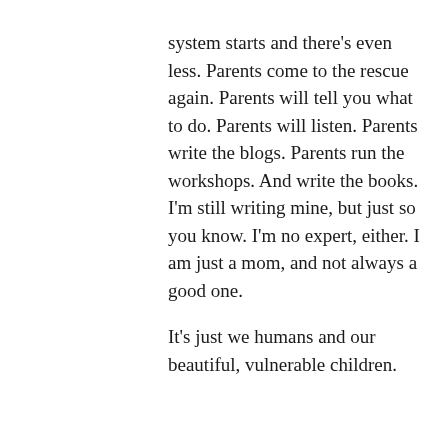system starts and there's even less. Parents come to the rescue again. Parents will tell you what to do. Parents will listen. Parents write the blogs. Parents run the workshops. And write the books. I'm still writing mine, but just so you know. I'm no expert, either. I am just a mom, and not always a good one.
It's just we humans and our beautiful, vulnerable children.